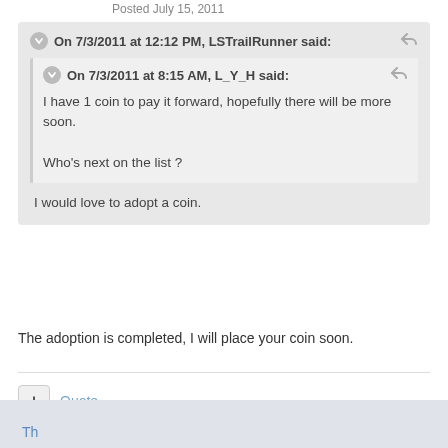Posted July 15, 2011
On 7/3/2011 at 12:12 PM, LSTrailRunner said:
On 7/3/2011 at 8:15 AM, L_Y_H said:
I have 1 coin to pay it forward, hopefully there will be more soon.

Who's next on the list ?
I would love to adopt a coin.
The adoption is completed, I will place your coin soon.
+ Quote
Th